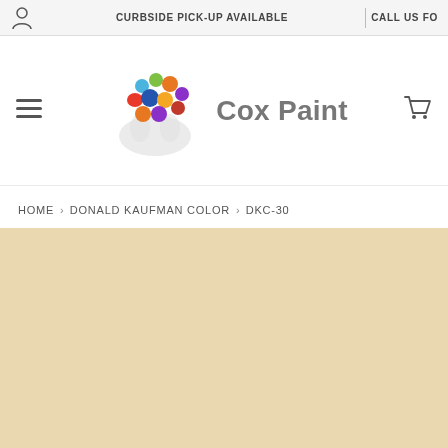CURBSIDE PICK-UP AVAILABLE | CALL US FO
[Figure (logo): Cox Paint logo with colorful dot cluster and text 'Cox Paint']
HOME › DONALD KAUFMAN COLOR › DKC-30
[Figure (other): Paint color swatch for DKC-30, a warm sandy beige/tan color]